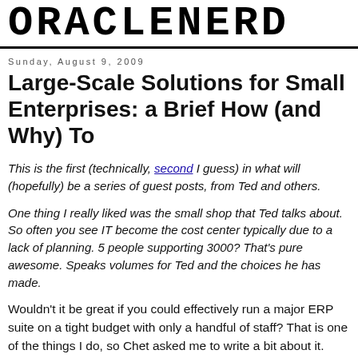ORACLENERD
Sunday, August 9, 2009
Large-Scale Solutions for Small Enterprises: a Brief How (and Why) To
This is the first (technically, second I guess) in what will (hopefully) be a series of guest posts, from Ted and others.
One thing I really liked was the small shop that Ted talks about. So often you see IT become the cost center typically due to a lack of planning. 5 people supporting 3000? That's pure awesome. Speaks volumes for Ted and the choices he has made.
Wouldn't it be great if you could effectively run a major ERP suite on a tight budget with only a handful of staff? That is one of the things I do, so Chet asked me to write a bit about it. Specifically, he asked me "how have you integrated Oracle into a small shop? How much work? Hard? Easy?" Hopefully